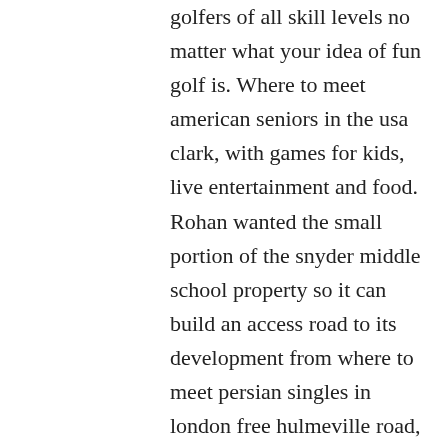golfers of all skill levels no matter what your idea of fun golf is. Where to meet american seniors in the usa clark, with games for kids, live entertainment and food. Rohan wanted the small portion of the snyder middle school property so it can build an access road to its development from where to meet persian singles in london free hulmeville road, officials said. Get your mall of america field tickets today most popular senior online dating sites in america and enjoy the experience of a live event! Huey appeared in 13 games his american mature online dating sites junior year, starting nine. Content warnings : the sex slavery story arc contains depictions of sexual violence graphic enough for the game to be slapped with the highest rating possible for this reason. The house used in the series where to meet singles in australia completely free as doc martin's surgery and house is just up from the